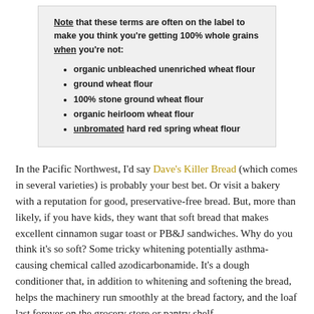Note that these terms are often on the label to make you think you're getting 100% whole grains when you're not:
organic unbleached unenriched wheat flour
ground wheat flour
100% stone ground wheat flour
organic heirloom wheat flour
unbromated hard red spring wheat flour
In the Pacific Northwest, I'd say Dave's Killer Bread (which comes in several varieties) is probably your best bet. Or visit a bakery with a reputation for good, preservative-free bread. But, more than likely, if you have kids, they want that soft bread that makes excellent cinnamon sugar toast or PB&J sandwiches. Why do you think it's so soft? Some tricky whitening potentially asthma-causing chemical called azodicarbonamide. It's a dough conditioner that, in addition to whitening and softening the bread, helps the machinery run smoothly at the bread factory, and the loaf last forever on the grocery store or pantry shelf.
Oh, and here's another fun thing that's been okayed by the FDA. DATEM, otherwise known as Diacetyl Tartaric Acid Esters of Monoglycerides. Yet another dough conditioning agent, this one helps...